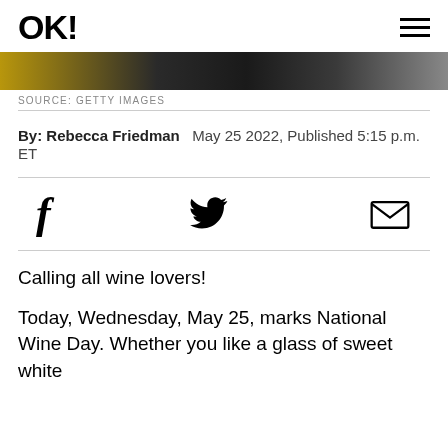OK!
[Figure (photo): Cropped photo strip showing a blurred background scene with gold and dark tones]
SOURCE: GETTY IMAGES
By: Rebecca Friedman   May 25 2022, Published 5:15 p.m. ET
[Figure (infographic): Social share icons: Facebook, Twitter, Email]
Calling all wine lovers!
Today, Wednesday, May 25, marks National Wine Day. Whether you like a glass of sweet white